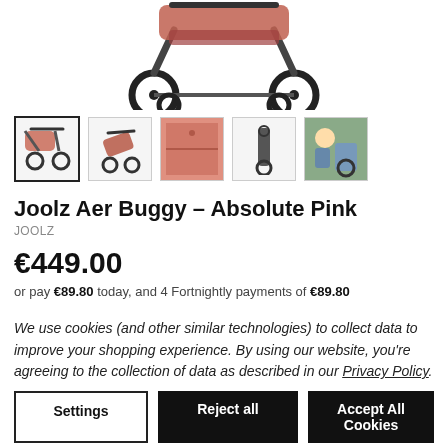[Figure (photo): Top portion of a pink Joolz Aer Buggy stroller showing wheels and frame against white background]
[Figure (photo): Row of 5 product thumbnail images of the Joolz Aer Buggy in Absolute Pink: full stroller view (selected), folded view, close-up pink fabric, folded compact view, lifestyle photo with child]
Joolz Aer Buggy – Absolute Pink
JOOLZ
€449.00
or pay €89.80 today, and 4 Fortnightly payments of €89.80
We use cookies (and other similar technologies) to collect data to improve your shopping experience. By using our website, you're agreeing to the collection of data as described in our Privacy Policy.
Settings
Reject all
Accept All Cookies